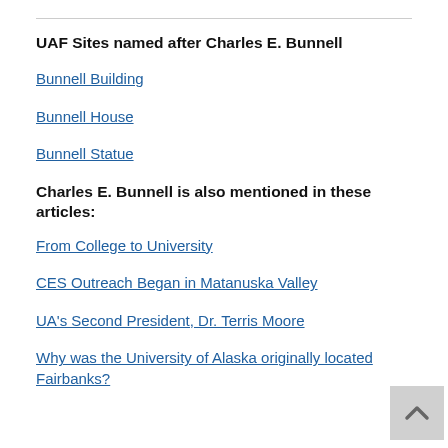UAF Sites named after Charles E. Bunnell
Bunnell Building
Bunnell House
Bunnell Statue
Charles E. Bunnell is also mentioned in these articles:
From College to University
CES Outreach Began in Matanuska Valley
UA's Second President, Dr. Terris Moore
Why was the University of Alaska originally located Fairbanks?